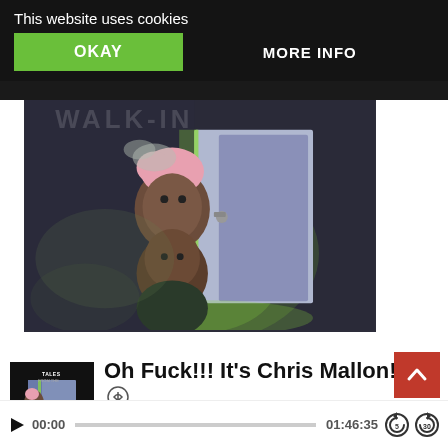This website uses cookies
OKAY
MORE INFO
[Figure (illustration): Cartoon illustration showing two characters peeking around a partially open door with a glowing green light, against a dark background. Title text 'WALK-IN' faintly visible at top.]
[Figure (illustration): Podcast thumbnail for 'Tales From The Walk-In' showing cartoon characters at a door]
Oh Fuck!!! It’s Chris Mallon!!!
Tales From The Walk-In
00:00
01:46:35